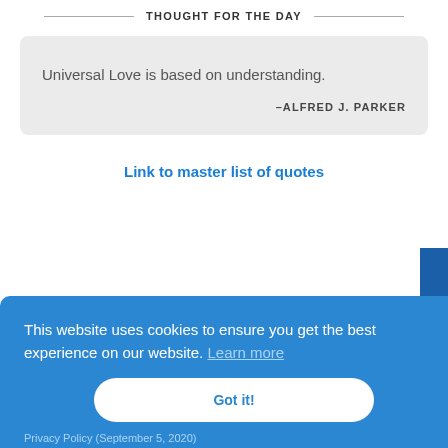THOUGHT FOR THE DAY
Universal Love is based on understanding.
–ALFRED J. PARKER
Link to master list of quotes
This website uses cookies to ensure you get the best experience on our website. Learn more
Got it!
Privacy Policy (September 5, 2020)